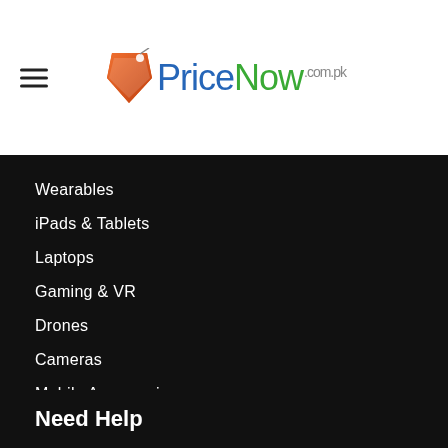[Figure (logo): PriceNow.com.pk logo with orange price tag icon and blue/green text]
Wearables
iPads & Tablets
Laptops
Gaming & VR
Drones
Cameras
Mobile Accessories
Need Help